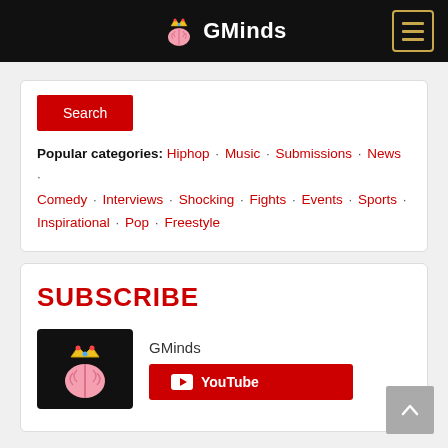GMinds
[Figure (logo): GMinds logo: pink crowned brain with 'GMinds' text in white on black navbar, plus hamburger menu icon]
Search
Popular categories: Hiphop · Music · Submissions · News · Comedy · Interviews · Shocking · Fights · Events · Sports · Inspirational · Pop · Freestyle
SUBSCRIBE
[Figure (logo): GMinds YouTube widget: black box with pink crowned brain logo, channel name 'GMinds', red YouTube subscribe button]
[Figure (other): Back to top arrow button, grey square]